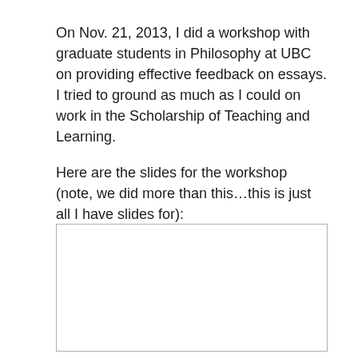On Nov. 21, 2013, I did a workshop with graduate students in Philosophy at UBC on providing effective feedback on essays. I tried to ground as much as I could on work in the Scholarship of Teaching and Learning.

Here are the slides for the workshop (note, we did more than this…this is just all I have slides for):
[Figure (other): A blank white rectangle with a thin gray border, representing an embedded slide or image placeholder.]